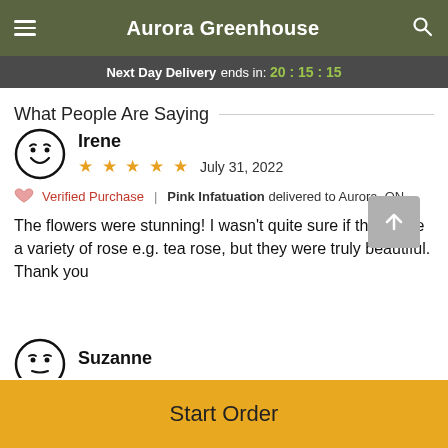Aurora Greenhouse
Next Day Delivery ends in: 20:15:15
What People Are Saying
Irene
★★★★★  July 31, 2022
🌷 Verified Purchase | Pink Infatuation delivered to Aurora, ON
The flowers were stunning! I wasn't quite sure if they were a variety of rose e.g. tea rose, but they were truly beautiful. Thank you
Suzanne